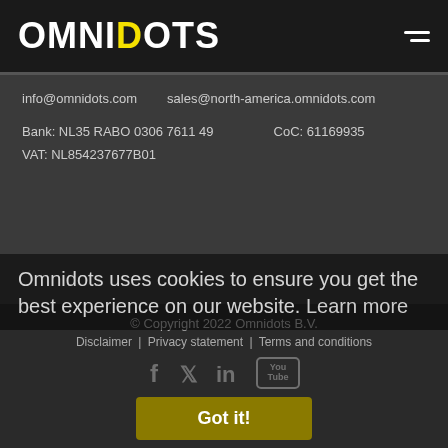OMNIDOTS
info@omnidots.com    sales@north-america.omnidots.com
Bank: NL35 RABO 0306 7611 49    CoC: 61169935
VAT: NL854237677B01
© Copyright 2022 Omnidots B.V.
Disclaimer | Privacy statement | Terms and conditions
Omnidots uses cookies to ensure you get the best experience on our website.  Learn more
Got it!